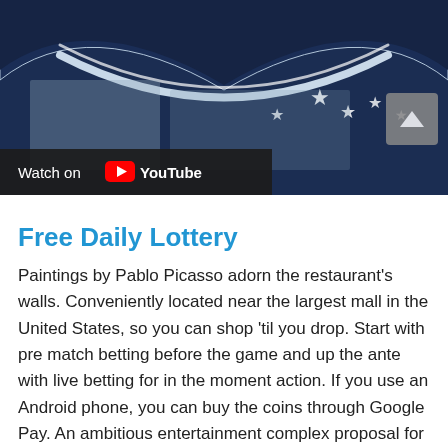[Figure (screenshot): YouTube video thumbnail showing a dark blue background with silver stars and a chevron/ribbon design, with a 'Watch on YouTube' bar at the bottom left.]
Free Daily Lottery
Paintings by Pablo Picasso adorn the restaurant's walls. Conveniently located near the largest mall in the United States, so you can shop 'til you drop. Start with pre match betting before the game and up the ante with live betting for in the moment action. If you use an Android phone, you can buy the coins through Google Pay. An ambitious entertainment complex proposal for Oneida of the Thames, including a casino operation,